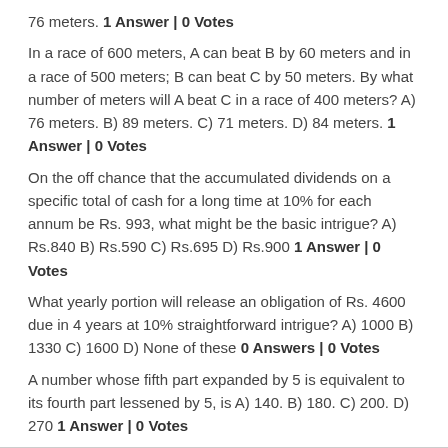76 meters. 1 Answer | 0 Votes
In a race of 600 meters, A can beat B by 60 meters and in a race of 500 meters; B can beat C by 50 meters. By what number of meters will A beat C in a race of 400 meters? A) 76 meters. B) 89 meters. C) 71 meters. D) 84 meters. 1 Answer | 0 Votes
On the off chance that the accumulated dividends on a specific total of cash for a long time at 10% for each annum be Rs. 993, what might be the basic intrigue? A) Rs.840 B) Rs.590 C) Rs.695 D) Rs.900 1 Answer | 0 Votes
What yearly portion will release an obligation of Rs. 4600 due in 4 years at 10% straightforward intrigue? A) 1000 B) 1330 C) 1600 D) None of these 0 Answers | 0 Votes
A number whose fifth part expanded by 5 is equivalent to its fourth part lessened by 5, is A) 140. B) 180. C) 200. D) 270 1 Answer | 0 Votes